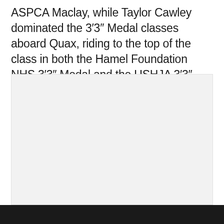ASPCA Maclay, while Taylor Cawley dominated the 3′3″ Medal classes aboard Quax, riding to the top of the class in both the Hamel Foundation NHS 3′3″ Medal and the USHJA 3′3″ Hunter Seat Medal.
[Figure (photo): A light gray placeholder image area with no visible content.]